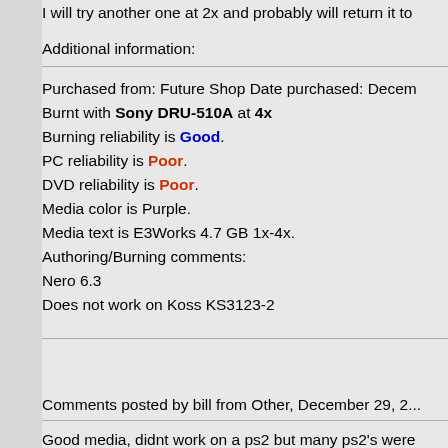I will try another one at 2x and probably will return it to
Additional information:
Purchased from: Future Shop Date purchased: Decem
Burnt with Sony DRU-510A at 4x
Burning reliability is Good.
PC reliability is Poor.
DVD reliability is Poor.
Media color is Purple.
Media text is E3Works 4.7 GB 1x-4x.
Authoring/Burning comments:
Nero 6.3
Does not work on Koss KS3123-2
Comments posted by bill from Other, December 29, 2...
Good media, didnt work on a ps2 but many ps2's were